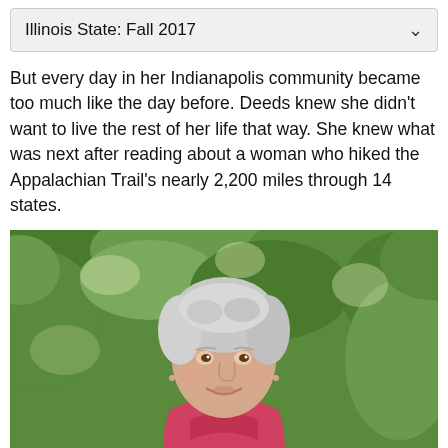Illinois State: Fall 2017
But every day in her Indianapolis community became too much like the day before. Deeds knew she didn't want to live the rest of her life that way. She knew what was next after reading about a woman who hiked the Appalachian Trail's nearly 2,200 miles through 14 states.
[Figure (photo): An elderly woman with short white/gray hair smiling outdoors, wearing a pink/red top, with green foliage in the background.]